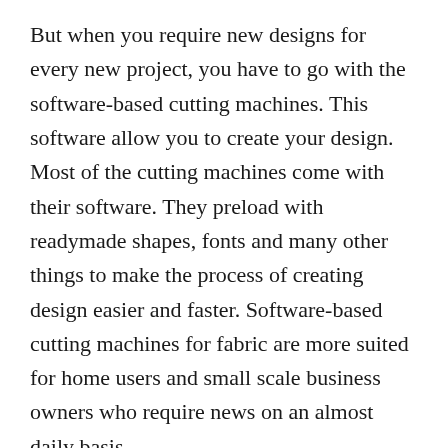But when you require new designs for every new project, you have to go with the software-based cutting machines. This software allow you to create your design. Most of the cutting machines come with their software. They preload with readymade shapes, fonts and many other things to make the process of creating design easier and faster. Software-based cutting machines for fabric are more suited for home users and small scale business owners who require news on an almost daily basis.
3. Size
The size of die-cut machines may vary